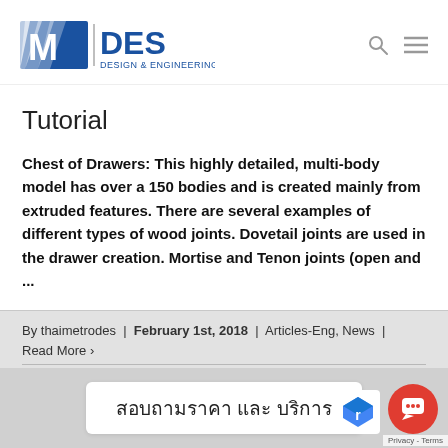M / DES Design & Engineering Solutions
Tutorial
Chest of Drawers: This highly detailed, multi-body model has over a 150 bodies and is created mainly from extruded features. There are several examples of different types of wood joints. Dovetail joints are used in the drawer creation. Mortise and Tenon joints (open and ...
By thaimetrodes | February 1st, 2018 | Articles-Eng, News | Read More >
สอบถามราคา และ บริการ